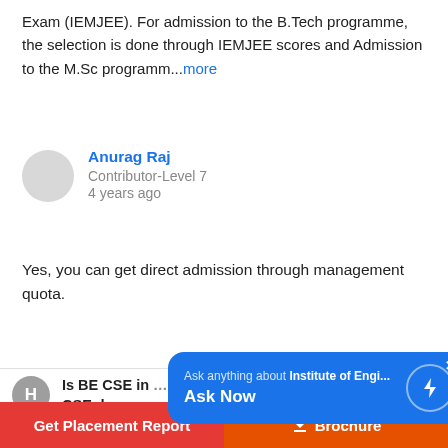Exam (IEMJEE). For admission to the B.Tech programme, the selection is done through IEMJEE scores and Admission to the M.Sc programm...more
Anurag Raj
Contributor-Level 7
4 years ago
Yes, you can get direct admission through management quota.
Is BE CSE in ... CSE degrees...
[Figure (screenshot): Blue popup tooltip: Ask anything about Institute of Engi... Ask Now, with lightning bolt icon and close button]
Check rankings of colleges by course. Get fees & placements
Get Placement Report
Brochure